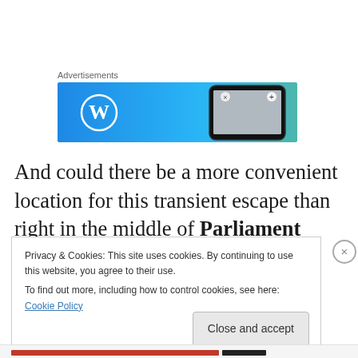Advertisements
[Figure (screenshot): WordPress advertisement banner with blue gradient background, WordPress logo (W in circle) on left, and a smartphone on the right showing a photo editing UI]
And could there be a more convenient location for this transient escape than right in the middle of Parliament Square in the heart of Edinburgh's old town, a stone's
Privacy & Cookies: This site uses cookies. By continuing to use this website, you agree to their use.
To find out more, including how to control cookies, see here: Cookie Policy
Close and accept